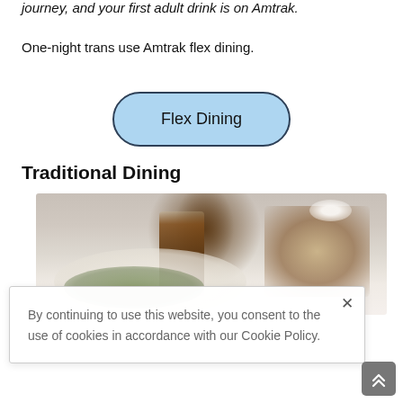journey, and your first adult drink is on Amtrak.
One-night trans use Amtrak flex dining.
[Figure (other): Blue pill-shaped button labeled 'Flex Dining' with dark border]
Traditional Dining
[Figure (photo): Photo of a table setting with a plate of food (sandwich/wrap with lettuce), a slice of cake with whipped cream, and an iced drink in a glass]
By continuing to use this website, you consent to the use of cookies in accordance with our Cookie Policy.